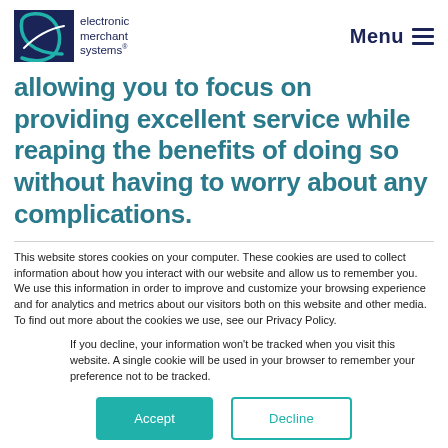electronic merchant systems | Menu
allowing you to focus on providing excellent service while reaping the benefits of doing so without having to worry about any complications.
This website stores cookies on your computer. These cookies are used to collect information about how you interact with our website and allow us to remember you. We use this information in order to improve and customize your browsing experience and for analytics and metrics about our visitors both on this website and other media. To find out more about the cookies we use, see our Privacy Policy.
If you decline, your information won't be tracked when you visit this website. A single cookie will be used in your browser to remember your preference not to be tracked.
Accept | Decline